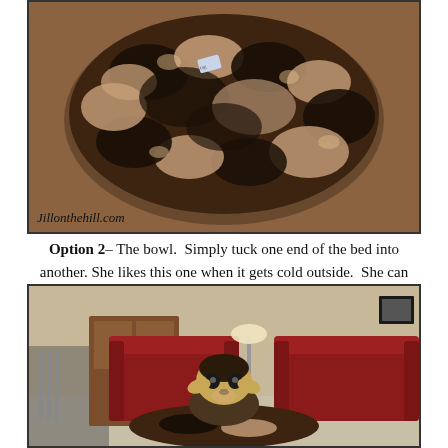[Figure (photo): A circular fluffy pet bed with dark brown and tan leopard-print pattern, viewed from above, sitting on a wooden floor. A small white tag is visible. Watermark reads 'Jillonthehill.com' in bottom-left corner.]
Option 2– The bowl.  Simply tuck one end of the bed into another. She likes this one when it gets cold outside.  She can nestle into her nest and stay snuggly warm!
[Figure (photo): A small Yorkie dog sitting on a leopard-print circular pet bed in a living room. Behind the dog are two red leather sofas, a wooden cabinet, a fireplace with tools, and a lamp.]